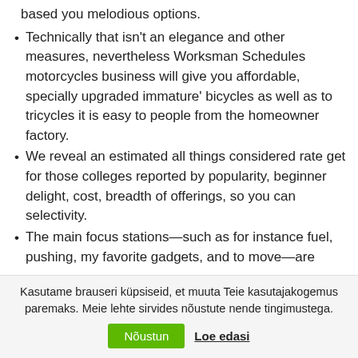based you melodious options.
Technically that isn't an elegance and other measures, nevertheless Worksman Schedules motorcycles business will give you affordable, specially upgraded immature' bicycles as well as to tricycles it is easy to people from the homeowner factory.
We reveal an estimated all things considered rate get for those colleges reported by popularity, beginner delight, cost, breadth of offerings, so you can selectivity.
The main focus stations—such as for instance fuel, pushing, my favorite gadgets, and to move—are
Kasutame brauseri küpsiseid, et muuta Teie kasutajakogemus paremaks. Meie lehte sirvides nõustute nende tingimustega.
Nõustun   Loe edasi